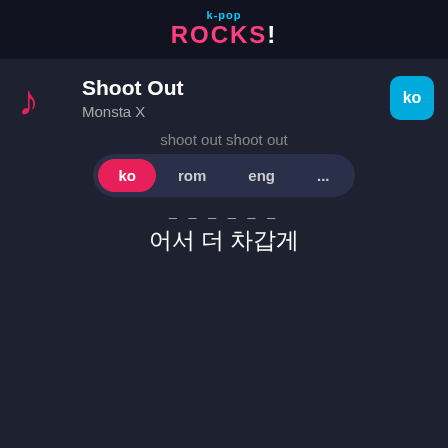k-pop ROCKS!
Shoot Out
Monsta X
[Figure (screenshot): Ko language selector button (cyan rounded square) in top right]
shoot out shoot out
[Figure (infographic): Language selector pill with four options: ko (active/pink), rom, eng, ...]
어서 더 차갑게